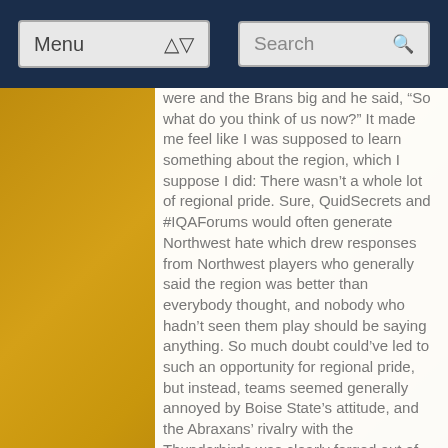Menu | Search
were and the Brans big and he said, “So what do you think of us now?” It made me feel like I was supposed to learn something about the region, which I suppose I did: There wasn’t a whole lot of regional pride. Sure, QuidSecrets and #IQAForums would often generate Northwest hate which drew responses from Northwest players who generally said the region was better than everybody thought, and nobody who hadn’t seen them play should be saying anything. So much doubt could’ve led to such an opportunity for regional pride, but instead, teams seemed generally annoyed by Boise State’s attitude, and the Abraxans’ rivalry with the Thunderbirds was clearly forged out of something that was definitely not respect.
At least I was treated to an exciting victory by the Portland Augureys over the Boise State Thestrals. Those two teams, who would certainly get blown out by the worst team at World Cup, provided the most interesting game of the tournament. I wanted to be the first outsider who...